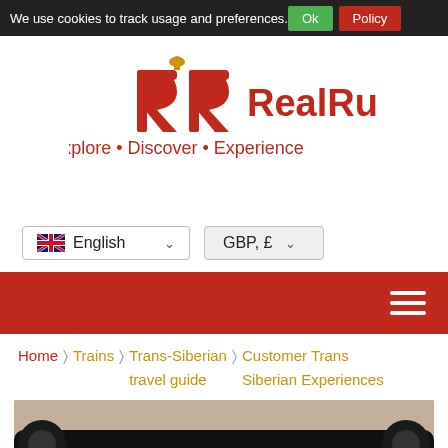We use cookies to track usage and preferences. Ok Policy
[Figure (logo): Real Russia logo: stylized RR monogram in red with a golden dome on top, text 'RealRussia' in red, subtitle 'Explore • Discover • Experience' in red]
English (UK flag) ∨   GBP, £ ∨
[Figure (screenshot): Red navigation bar with hamburger menu icon on the right]
Home > Trains > Trans-Siberian travel guide > Customer Trans Siberian Experiences
[Figure (photo): Close-up of a typewriter with paper showing the word 'Testimonial' printed on it]